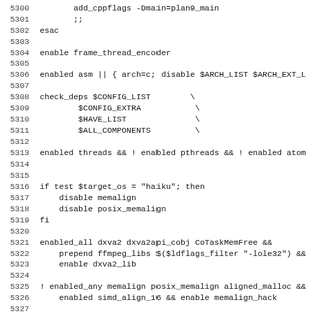Source code listing, lines 5300-5331
5300    add_cppflags -Dmain=plan9_main
5301        ;;
5302 esac
5303
5304 enable frame_thread_encoder
5305
5306 enabled asm || { arch=c; disable $ARCH_LIST $ARCH_EXT_L
5307
5308 check_deps $CONFIG_LIST        \
5309         $CONFIG_EXTRA           \
5310         $HAVE_LIST              \
5311         $ALL_COMPONENTS         \
5312
5313 enabled threads && ! enabled pthreads && ! enabled atom
5314
5315
5316 if test $target_os = "haiku"; then
5317     disable memalign
5318     disable posix_memalign
5319 fi
5320
5321 enabled_all dxva2 dxva2api_cobj CoTaskMemFree &&
5322     prepend ffmpeg_libs $($ldflags_filter "-lole32") &&
5323     enable dxva2_lib
5324
5325 ! enabled_any memalign posix_memalign aligned_malloc &&
5326     enabled simd_align_16 && enable memalign_hack
5327
5328 # add_dep lib dep
5329 # -> enable ${lib}_deps_${dep}
5330 # -> add $dep to ${lib}_deps only once
5331 add_dep() {